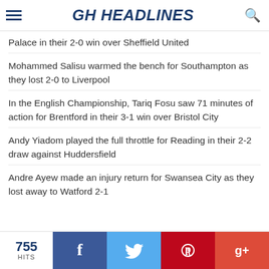GH HEADLINES
Palace in their 2-0 win over Sheffield United
Mohammed Salisu warmed the bench for Southampton as they lost 2-0 to Liverpool
In the English Championship, Tariq Fosu saw 71 minutes of action for Brentford in their 3-1 win over Bristol City
Andy Yiadom played the full throttle for Reading in their 2-2 draw against Huddersfield
Andre Ayew made an injury return for Swansea City as they lost away to Watford 2-1
755 HITS | Facebook | Twitter | Pinterest | Google+